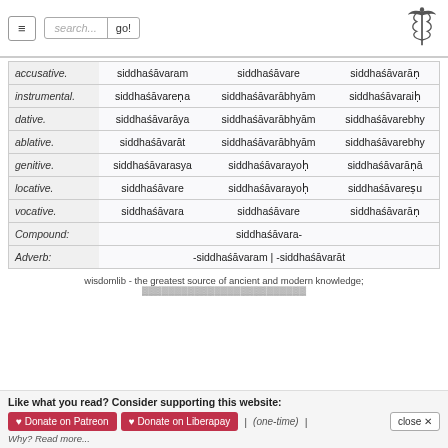≡  search...  go!  [caduceus logo]
| Case | Singular | Dual | Plural |
| --- | --- | --- | --- |
| accusative. | siddhaśāvaram | siddhaśāvare | siddhaśāvarāṇ |
| instrumental. | siddhaśāvareṇa | siddhaśāvarābhyām | siddhaśāvarait |
| dative. | siddhaśāvarāya | siddhaśāvarābhyām | siddhaśāvarebhy |
| ablative. | siddhaśāvarāt | siddhaśāvarābhyām | siddhaśāvarebhy |
| genitive. | siddhaśāvarasya | siddhaśāvarayoḥ | siddhaśāvarāṇā |
| locative. | siddhaśāvare | siddhaśāvarayoḥ | siddhaśāvareṣu |
| vocative. | siddhaśāvara | siddhaśāvare | siddhaśāvarāṇ |
| Compound: | siddhaśāvara- |  |  |
| Adverb: | -siddhaśāvaram | -siddhaśāvarāt |  |  |
wisdomlib - the greatest source of ancient and modern knowledge;
Like what you read? Consider supporting this website:
♥ Donate on Patreon  ♥ Donate on Liberapay  |  (one-time)  |  close ✕
Why? Read more...